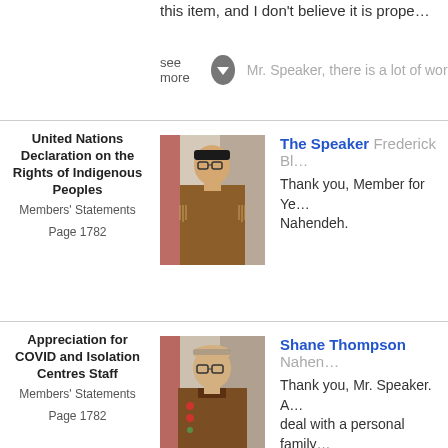this item, and I don't believe it is prope…
see more
Mr. Speaker, there is a lot of work to pr…
United Nations Declaration on the Rights of Indigenous Peoples
Members' Statements
Page 1782
[Figure (photo): Portrait photo of The Speaker Frederick Bl…, wearing traditional Indigenous clothing with fringe and beadwork, Canadian flag in background]
The Speaker  Frederick Bl…
Thank you, Member for Ye… Nahendeh.
Appreciation for COVID and Isolation Centres Staff
Members' Statements
Page 1782
[Figure (photo): Portrait photo of Shane Thompson of Nahendeh, wearing traditional Indigenous clothing with embroidery, Canadian flag in background]
Shane Thompson  Nahen…
Thank you, Mr. Speaker. A… deal with a personal family… needed to do. With this in m… submitted my self-isolation… days, it was identified that I would have…

As we got off the plane, we were ushe… meet with the COVID staff at the airpor… people had. Once this was done, you w…